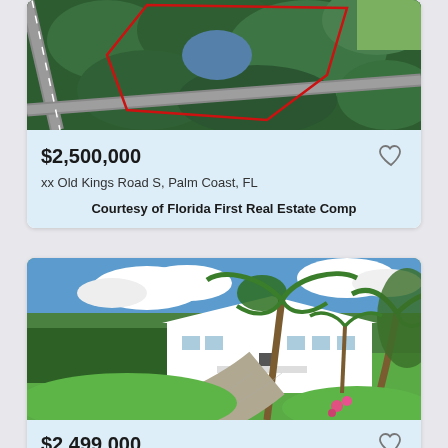[Figure (photo): Aerial view of a forested land parcel with a road and red boundary outline, Palm Coast, FL]
$2,500,000
xx Old Kings Road S, Palm Coast, FL
Courtesy of Florida First Real Estate Comp
[Figure (photo): Exterior photo of a white house with palm trees and a curved paver driveway]
$2,499,000